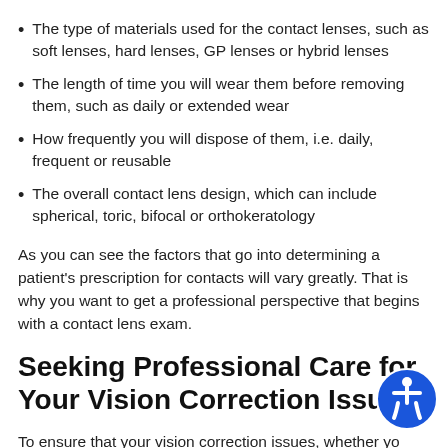The type of materials used for the contact lenses, such as soft lenses, hard lenses, GP lenses or hybrid lenses
The length of time you will wear them before removing them, such as daily or extended wear
How frequently you will dispose of them, i.e. daily, frequent or reusable
The overall contact lens design, which can include spherical, toric, bifocal or orthokeratology
As you can see the factors that go into determining a patient's prescription for contacts will vary greatly. That is why you want to get a professional perspective that begins with a contact lens exam.
Seeking Professional Care for Your Vision Correction Issues
To ensure that your vision correction issues, whether you have an astigmatism, nearsightedness or farsightedness, allow optometrists the opportunity to help you find the right